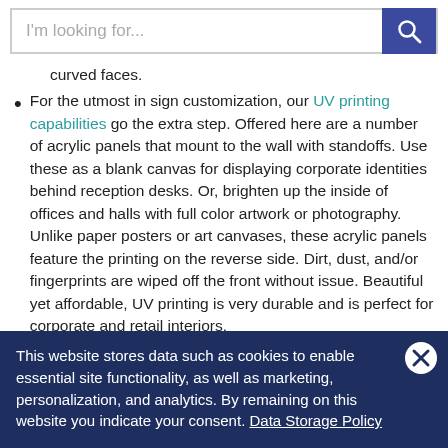I'm looking for...
curved faces.
For the utmost in sign customization, our UV printing capabilities go the extra step. Offered here are a number of acrylic panels that mount to the wall with standoffs. Use these as a blank canvas for displaying corporate identities behind reception desks. Or, brighten up the inside of offices and halls with full color artwork or photography. Unlike paper posters or art canvases, these acrylic panels feature the printing on the reverse side. Dirt, dust, and/or fingerprints are wiped off the front without issue. Beautiful yet affordable, UV printing is very durable and is perfect for corporate and retail interiors.
This website stores data such as cookies to enable essential site functionality, as well as marketing, personalization, and analytics. By remaining on this website you indicate your consent. Data Storage Policy